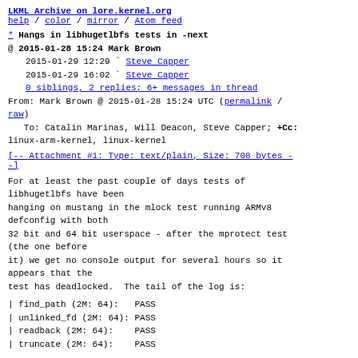LKML Archive on lore.kernel.org
help / color / mirror / Atom feed
* Hangs in libhugetlbfs tests in -next
@ 2015-01-28 15:24 Mark Brown
  2015-01-29 12:29 ` Steve Capper
  2015-01-29 16:02 ` Steve Capper
  0 siblings, 2 replies; 6+ messages in thread
From: Mark Brown @ 2015-01-28 15:24 UTC (permalink / raw)
   To: Catalin Marinas, Will Deacon, Steve Capper; +Cc: linux-arm-kernel, linux-kernel
[-- Attachment #1: Type: text/plain, Size: 708 bytes --]
For at least the past couple of days tests of libhugetlbfs have been
hanging on mustang in the mlock test running ARMv8 defconfig with both
32 bit and 64 bit userspace - after the mprotect test (the one before
it) we get no console output for several hours so it appears that the
test has deadlocked.  The tail of the log is:
| find_path (2M: 64):   PASS
| unlinked_fd (2M: 64): PASS
| readback (2M: 64):    PASS
| truncate (2M: 64):    PASS